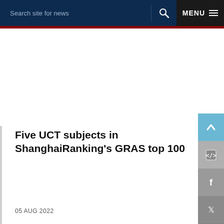Search site for news   MENU
Five UCT subjects in ShanghaiRanking's GRAS top 100
05 AUG 2022